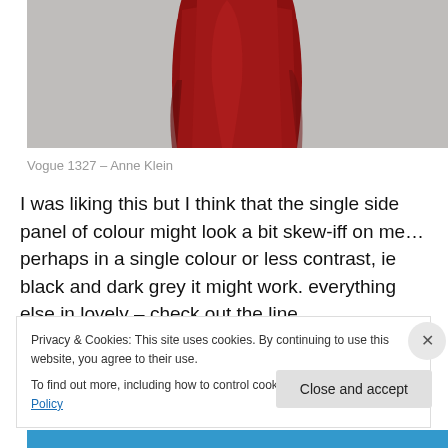[Figure (photo): Fashion photo showing a red/dark red draped dress or garment on a model against a light grey background]
Vogue 1327 – Anne Klein
I was liking this but I think that the single side panel of colour might look a bit skew-iff on me… perhaps in a single colour or less contrast, ie black and dark grey it might work. everything else in lovely – check out the line
Privacy & Cookies: This site uses cookies. By continuing to use this website, you agree to their use.
To find out more, including how to control cookies, see here: Cookie Policy
Close and accept